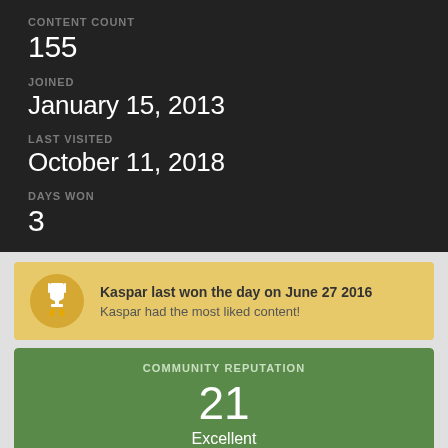CONTENT COUNT
155
JOINED
January 15, 2013
LAST VISITED
October 11, 2018
DAYS WON
3
Kaspar last won the day on June 27 2016
Kaspar had the most liked content!
COMMUNITY REPUTATION
21
Excellent
See reputation activity ▶
ABOUT KASPAR